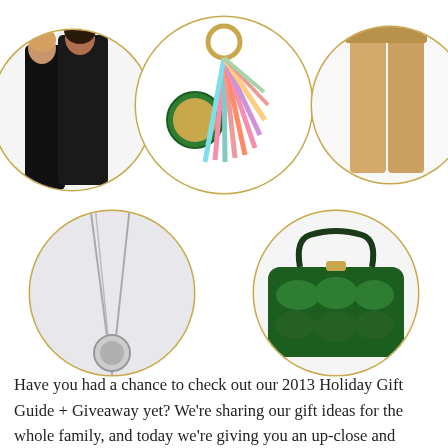[Figure (photo): Collage of 5 product images in gold-bordered circles: two women in black shapewear, colorful tassel keychain with gold pendant, tan/khaki pants, long silver necklace with pendant, dark green ruffled handbag]
Have you had a chance to check out our 2013 Holiday Gift Guide + Giveaway yet? We're sharing our gift ideas for the whole family, and today we're giving you an up-close and personal look at all the fabulous items in the gift guide for mom or mom...